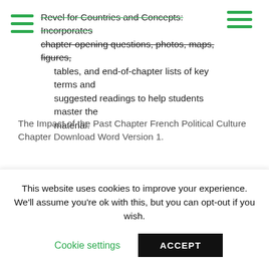Revel for Countries and Concepts: Incorporates chapter-opening questions, photos, maps, figures, tables, and end-of-chapter lists of key terms and suggested readings to help students master the material.
The Impact of the Past Chapter French Political Culture Chapter Download Word Version 1.
Roskin, Countries and Concepts: Politics, Geography, Culture (Subscription) |
This website uses cookies to improve your experience. We'll assume you're ok with this, but you can opt-out if you wish.